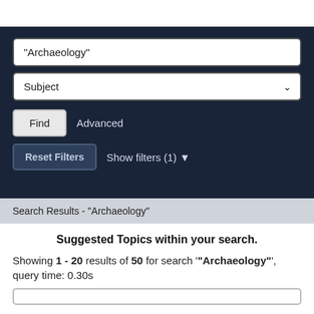[Figure (screenshot): Search interface with text input showing '"Archaeology"', a Subject dropdown, a Find button, Advanced link, Reset Filters button, and Show filters (1) toggle on a dark navy background.]
Search Results - "Archaeology"
Suggested Topics within your search.
Showing 1 - 20 results of 50 for search '"Archaeology"', query time: 0.30s